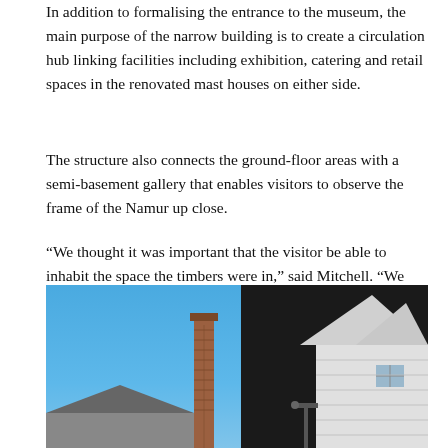In addition to formalising the entrance to the museum, the main purpose of the narrow building is to create a circulation hub linking facilities including exhibition, catering and retail spaces in the renovated mast houses on either side.
The structure also connects the ground-floor areas with a semi-basement gallery that enables visitors to observe the frame of the Namur up close.
“We thought it was important that the visitor be able to inhabit the space the timbers were in,” said Mitchell. “We needed to provide a way for people to get a sense of the scale of this archaeological find and experience it all at once.”
[Figure (photo): Exterior photograph of historic building complex with white clapboard buildings with triangular peaked roofs and a tall brick chimney, against a clear blue sky. Buildings appear to be mast houses or similar historic maritime structures.]